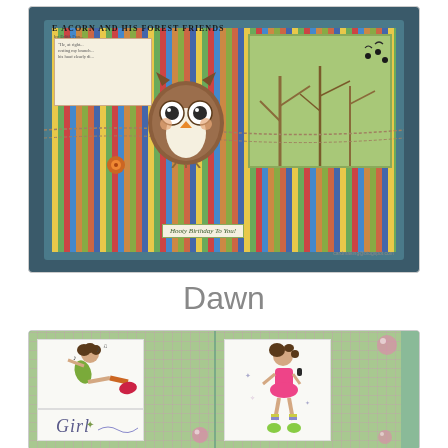[Figure (photo): Handmade birthday card featuring a cartoon owl character, text 'E Acorn and His Forest Friends', striped paper background in multiple colors (green, red, blue, orange), a forest scene panel with green trees, and a banner reading 'Hooty Birthday To You!']
Dawn
[Figure (photo): Handmade greeting cards with a pink/green plaid background, featuring two illustrated girl characters in cute poses with striped socks and colorful outfits. Bottom left panel shows text 'Girl' in decorative lettering.]